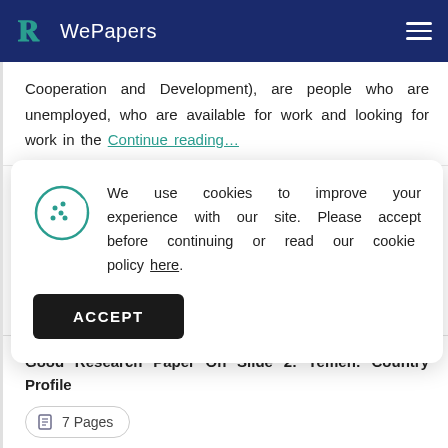WePapers
Cooperation and Development), are people who are unemployed, who are available for work and looking for work in the Continue reading…
We use cookies to improve your experience with our site. Please accept before continuing or read our cookie policy here.
ACCEPT
Good Research Paper On Slide 2: Yemen: Country Profile
7 Pages